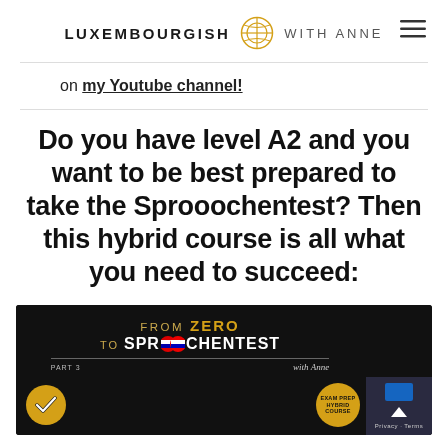LUXEMBOURGISH WITH ANNE
on my Youtube channel!
Do you have level A2 and you want to be best prepared to take the Sprooochentest? Then this hybrid course is all what you need to succeed:
[Figure (illustration): Banner image for 'From Zero to Sprooochentest Part 3 with Anne' course — black background with gold and white text, Luxembourg flag-colored 'OO' in SPROO, exam prep hybrid course badge, check badge, and photo of Anne partially visible at bottom.]